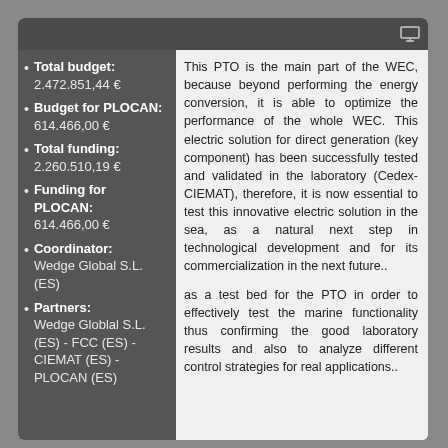Total budget: 2.472.851,44 €
Budget for PLOCAN: 614.466,00 €
Total funding: 2.260.510,19 €
Funding for PLOCAN: 614.466,00 €
Coordinator: Wedge Global S.L. (ES)
Partners: Wedge Globlal S.L. (ES) - FCC (ES) - CIEMAT (ES) - PLOCAN (ES)
This PTO is the main part of the WEC, because beyond performing the energy conversion, it is able to optimize the performance of the whole WEC. This electric solution for direct generation (key component) has been successfully tested and validated in the laboratory (Cedex-CIEMAT), therefore, it is now essential to test this innovative electric solution in the sea, as a natural next step in technological development and for its commercialization in the next future..
as a test bed for the PTO in order to effectively test the marine functionality thus confirming the good laboratory results and also to analyze different control strategies for real applications..